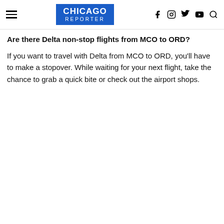CHICAGO REPORTER
Are there Delta non-stop flights from MCO to ORD?
If you want to travel with Delta from MCO to ORD, you’ll have to make a stopover. While waiting for your next flight, take the chance to grab a quick bite or check out the airport shops.